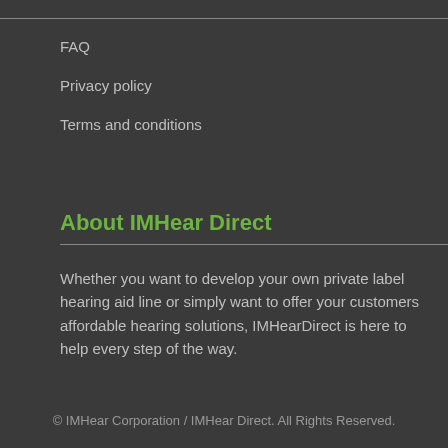FAQ
Privacy policy
Terms and conditions
About IMHear Direct
Whether you want to develop your own private label hearing aid line or simply want to offer your customers affordable hearing solutions, IMHearDirect is here to help every step of the way.
© IMHear Corporation / IMHear Direct. All Rights Reserved.